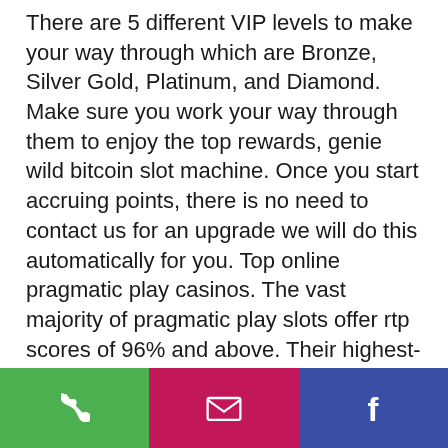There are 5 different VIP levels to make your way through which are Bronze, Silver Gold, Platinum, and Diamond. Make sure you work your way through them to enjoy the top rewards, genie wild bitcoin slot machine. Once you start accruing points, there is no need to contact us for an upgrade we will do this automatically for you. Top online pragmatic play casinos. The vast majority of pragmatic play slots offer rtp scores of 96% and above. Their highest-paying slots are the catfather (98. 10% rtp), triple tigers (. Play slots and casino games with the highest rtp (return to player) for free. ✓  no download and no registration required. ✓  high payout ratio games. About rtp on slots and how rtp affects gameplay and winnings. Plus you can check out the top 10 slots with highest rtp available for you to play
[Figure (other): Bottom navigation bar with three buttons: green phone/call button, pink/magenta email button, and dark blue Facebook button]